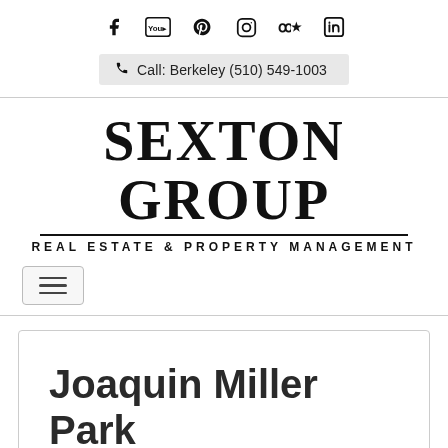Social media icons: Facebook, YouTube, Pinterest, Instagram, Yelp, LinkedIn
Call: Berkeley (510) 549-1003
[Figure (logo): Sexton Group Real Estate & Property Management logo with large serif text and divider line]
[Figure (other): Hamburger menu toggle button with three horizontal lines]
Joaquin Miller Park